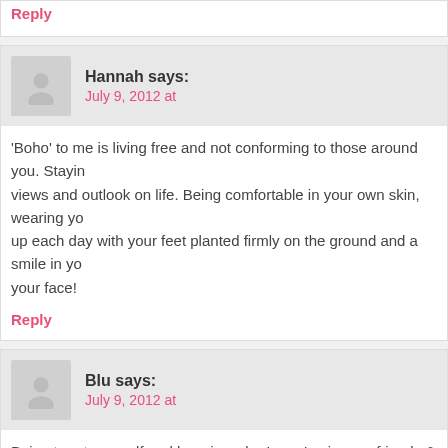Reply
Hannah says: July 9, 2012 at
'Boho' to me is living free and not conforming to those around you. Staying true to your own views and outlook on life. Being comfortable in your own skin, wearing your heart on your sleeve, waking up each day with your feet planted firmly on the ground and a smile in your heart and on your face!
Reply
Blu says: July 9, 2012 at
Being true to myself and learning who I am. Loving my friends & family u
Reply
Jessica says: